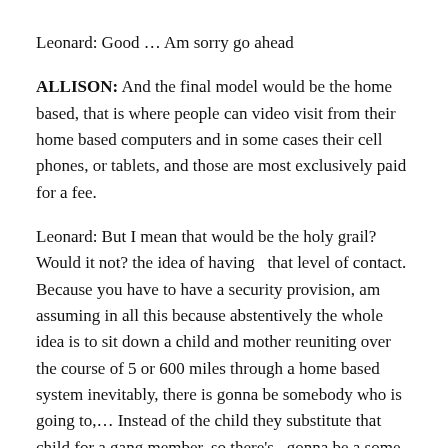Leonard: Good … Am sorry go ahead
ALLISON: And the final model would be the home based, that is where people can video visit from their home based computers and in some cases their cell phones, or tablets, and those are most exclusively paid for a fee.
Leonard: But I mean that would be the holy grail? Would it not? the idea of having  that level of contact. Because you have to have a security provision, am assuming in all this because abstentively the whole idea is to sit down a child and mother reuniting over the course of 5 or 600 miles through a home based system inevitably, there is gonna be somebody who is going to,… Instead of the child they substitute that child for a gang member, so there's  gonna be a some security component to this correct?